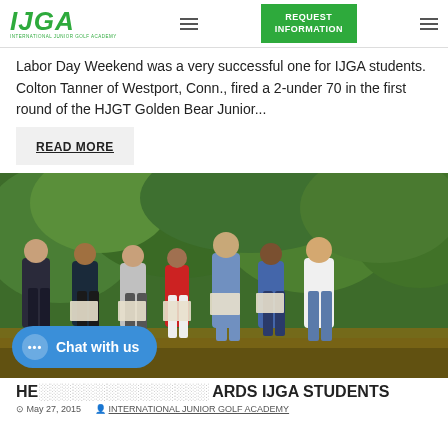IJGA INTERNATIONAL JUNIOR GOLF ACADEMY | REQUEST INFORMATION
Labor Day Weekend was a very successful one for IJGA students. Colton Tanner of Westport, Conn., fired a 2-under 70 in the first round of the HJGT Golden Bear Junior...
READ MORE
[Figure (photo): Group photo of seven people standing outdoors in front of green trees, several holding certificates. Includes adults and young people.]
HE... ARDS IJGA STUDENTS
May 27, 2015  INTERNATIONAL JUNIOR GOLF ACADEMY